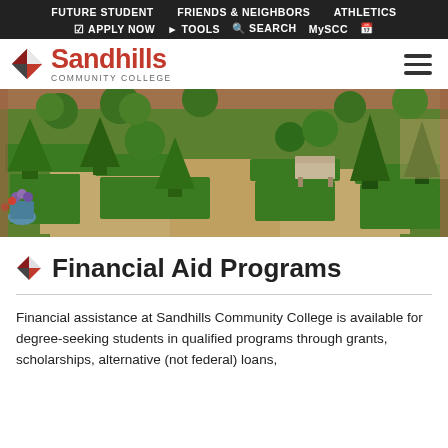FUTURE STUDENT   FRIENDS & NEIGHBORS   ATHLETICS   APPLY NOW   TOOLS   SEARCH   MySCC
[Figure (logo): Sandhills Community College logo with red diamond/flag icon and red text 'Sandhills' and gray 'COMMUNITY COLLEGE' below]
[Figure (photo): Aerial view of a formal garden with manicured topiary hedges in geometric patterns, cone-shaped trees, a wooden bench, brick walls, and colorful flower pots]
Financial Aid Programs
Financial assistance at Sandhills Community College is available for degree-seeking students in qualified programs through grants, scholarships, alternative (not federal) loans,